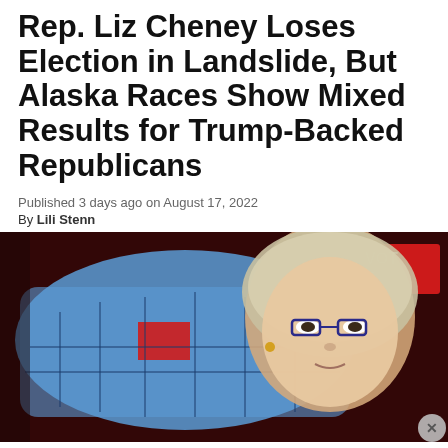Rep. Liz Cheney Loses Election in Landslide, But Alaska Races Show Mixed Results for Trump-Backed Republicans
Published 3 days ago on August 17, 2022
By Lili Stenn
[Figure (photo): Composite image of Liz Cheney's face alongside a US map with Wyoming highlighted in red, on a dark red background with a VOTE sign visible.]
Advertisements
[Figure (photo): MAC cosmetics advertisement showing lipsticks and MAC logo with 'SHOP NOW' button.]